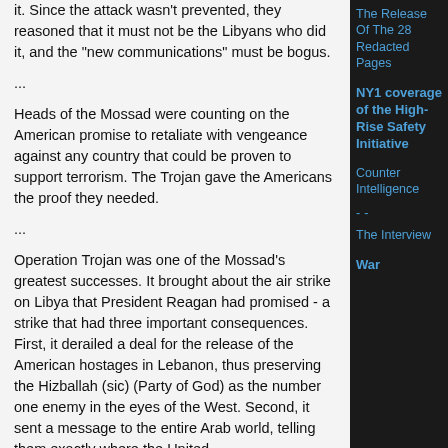it. Since the attack wasn't prevented, they reasoned that it must not be the Libyans who did it, and the "new communications" must be bogus.
...
Heads of the Mossad were counting on the American promise to retaliate with vengeance against any country that could be proven to support terrorism. The Trojan gave the Americans the proof they needed.
...
Operation Trojan was one of the Mossad's greatest successes. It brought about the air strike on Libya that President Reagan had promised - a strike that had three important consequences. First, it derailed a deal for the release of the American hostages in Lebanon, thus preserving the Hizballah (sic) (Party of God) as the number one enemy in the eyes of the West. Second, it sent a message to the entire Arab world, telling them exactly where the United
The Release Of The 28 Redacted Pages
NY1 coverage of the High-Rise Safety Initiative
Counter Intelligence - - The Interview
War